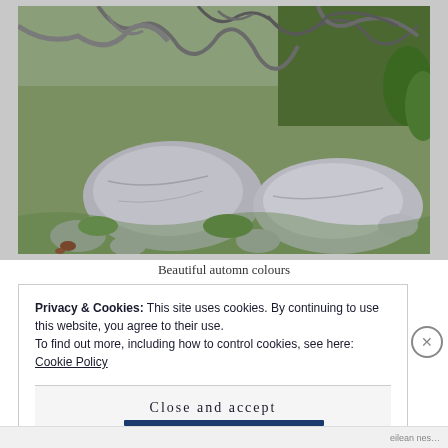[Figure (photo): Outdoor nature photograph showing a rocky alpine scene with large grey rocks, moss, green vegetation, and dead twisted tree branches/roots on a hillside. Autumn colours visible.]
Beautiful automn colours
Privacy & Cookies: This site uses cookies. By continuing to use this website, you agree to their use.
To find out more, including how to control cookies, see here: Cookie Policy
Close and accept